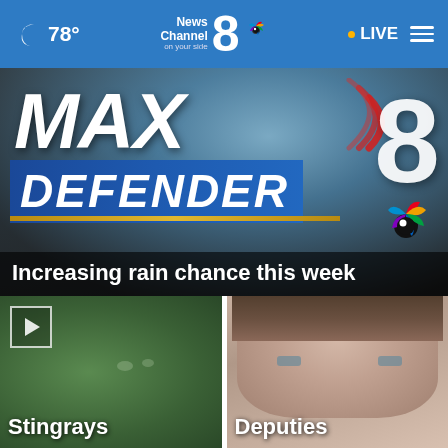🌙 78°  News Channel 8 on your side  [NBC logo]  • LIVE  ☰
[Figure (screenshot): MAX Defender 8 weather branding logo with large bold white MAX text, DEFENDER in blue banner, large numeral 8, signal arcs, NBC peacock logo, and gold underline. Dark storm sky background.]
Increasing rain chance this week
[Figure (photo): Aerial photo of two swimmers or objects in dark green water, with play button overlay in top left corner.]
Stingrays
[Figure (photo): Close-up portrait photo of a young man with brown hair and pale blue eyes.]
Deputies